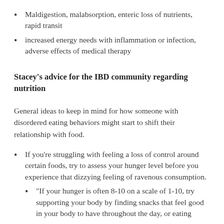Maldigestion, malabsorption, enteric loss of nutrients, rapid transit
increased energy needs with inflammation or infection, adverse effects of medical therapy
Stacey's advice for the IBD community regarding nutrition
General ideas to keep in mind for how someone with disordered eating behaviors might start to shift their relationship with food.
If you're struggling with feeling a loss of control around certain foods, try to assess your hunger level before you experience that dizzying feeling of ravenous consumption.
“If your hunger is often 8-10 on a scale of 1-10, try supporting your body by finding snacks that feel good in your body to have throughout the day, or eating